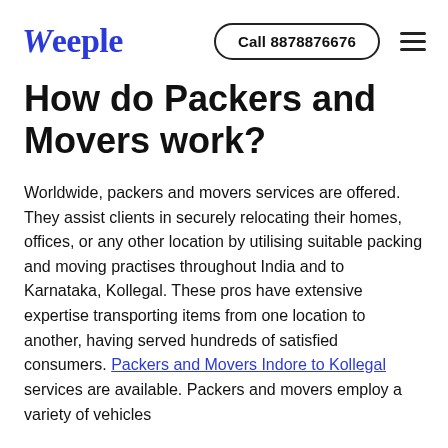Weeple | Call 8878876676
How do Packers and Movers work?
Worldwide, packers and movers services are offered. They assist clients in securely relocating their homes, offices, or any other location by utilising suitable packing and moving practises throughout India and to Karnataka, Kollegal. These pros have extensive expertise transporting items from one location to another, having served hundreds of satisfied consumers. Packers and Movers Indore to Kollegal services are available. Packers and movers employ a variety of vehicles